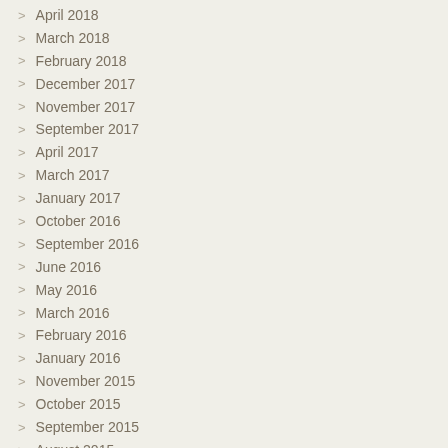April 2018
March 2018
February 2018
December 2017
November 2017
September 2017
April 2017
March 2017
January 2017
October 2016
September 2016
June 2016
May 2016
March 2016
February 2016
January 2016
November 2015
October 2015
September 2015
August 2015
July 2015
June 2015
April 2015